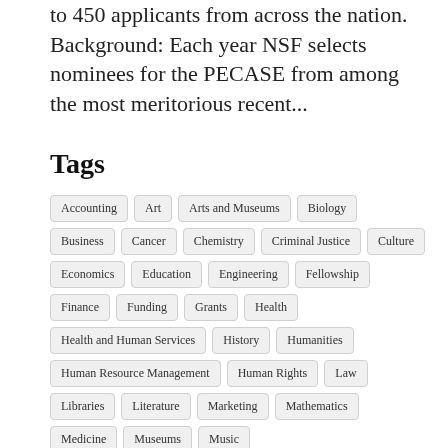to 450 applicants from across the nation. Background: Each year NSF selects nominees for the PECASE from among the most meritorious recent...
Tags
Accounting
Art
Arts and Museums
Biology
Business
Cancer
Chemistry
Criminal Justice
Culture
Economics
Education
Engineering
Fellowship
Finance
Funding
Grants
Health
Health and Human Services
History
Humanities
Human Resource Management
Human Rights
Law
Libraries
Literature
Marketing
Mathematics
Medicine
Museums
Music